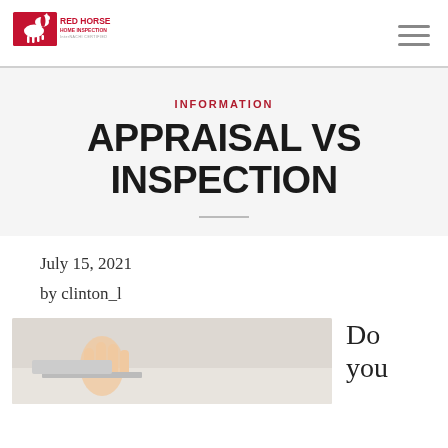[Figure (logo): Red Horse Home Inspection logo with red horse graphic and company name]
INFORMATION
APPRAISAL VS INSPECTION
July 15, 2021
by clinton_l
[Figure (photo): Person raising hand at a desk, partial view]
Do you